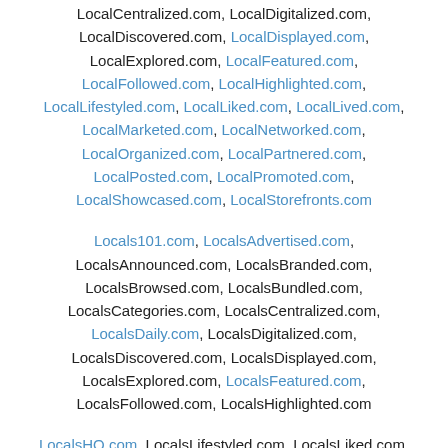LocalCentralized.com, LocalDigitalized.com, LocalDiscovered.com, LocalDisplayed.com, LocalExplored.com, LocalFeatured.com, LocalFollowed.com, LocalHighlighted.com, LocalLifestyled.com, LocalLiked.com, LocalLived.com, LocalMarketed.com, LocalNetworked.com, LocalOrganized.com, LocalPartnered.com, LocalPosted.com, LocalPromoted.com, LocalShowcased.com, LocalStorefronts.com
Locals101.com, LocalsAdvertised.com, LocalsAnnounced.com, LocalsBranded.com, LocalsBrowsed.com, LocalsBundled.com, LocalsCategories.com, LocalsCentralized.com, LocalsDaily.com, LocalsDigitalized.com, LocalsDiscovered.com, LocalsDisplayed.com, LocalsExplored.com, LocalsFeatured.com, LocalsFollowed.com, LocalsHighlighted.com
LocalsHQ.com, LocalsLifestyled.com, LocalsLiked.com,